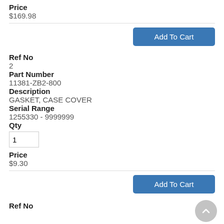Price
$169.98
Add To Cart
Ref No
2
Part Number
11381-ZB2-800
Description
GASKET, CASE COVER
Serial Range
1255330 - 9999999
Qty
1
Price
$9.30
Add To Cart
Ref No